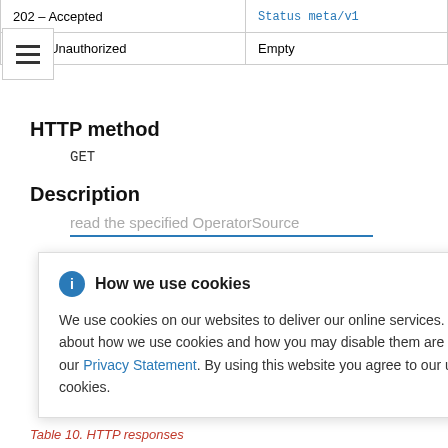| Status Code | Response |
| --- | --- |
| 202 - Accepted | Status meta/v1 |
| 401 - Unauthorized | Empty |
HTTP method
GET
Description
read the specified OperatorSource
[Figure (other): Cookie consent popup overlay with title 'How we use cookies', info icon, close button, and body text explaining cookie usage with a Privacy Statement link.]
Table 10. HTTP responses